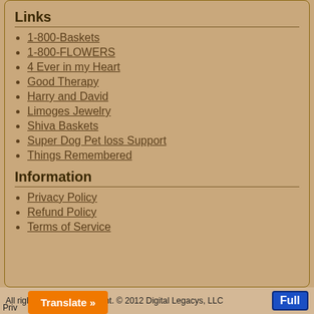Links
1-800-Baskets
1-800-FLOWERS
4 Ever in my Heart
Good Therapy
Harry and David
Limoges Jewelry
Shiva Baskets
Super Dog Pet loss Support
Things Remembered
Information
Privacy Policy
Refund Policy
Terms of Service
All rights reserved-Copyright. © 2012 Digital Legacys, LLC